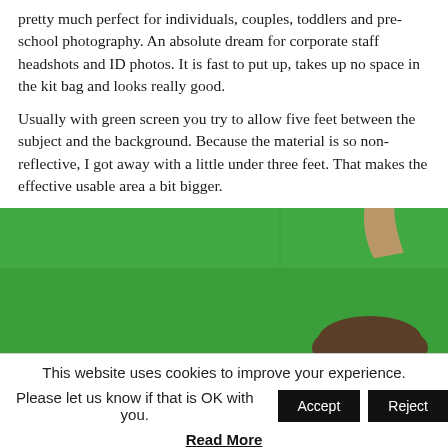pretty much perfect for individuals, couples, toddlers and pre-school photography. An absolute dream for corporate staff headshots and ID photos. It is fast to put up, takes up no space in the kit bag and looks really good.
Usually with green screen you try to allow five feet between the subject and the background. Because the material is so non-reflective, I got away with a little under three feet. That makes the effective usable area a bit bigger.
[Figure (photo): Person in front of a green screen background, with arm raised. Photo is cropped showing the green background, an outstretched arm, and the top of a person's head.]
This website uses cookies to improve your experience.
Please let us know if that is OK with you. [Accept] [Reject]
Read More